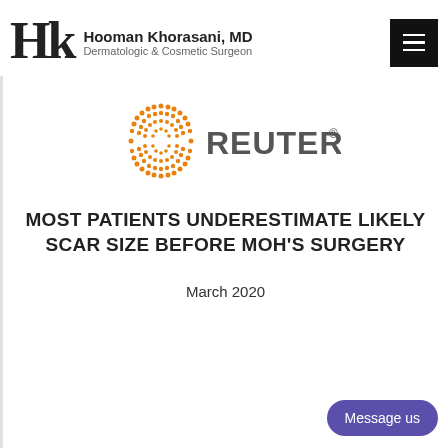Hooman Khorasani, MD — Dermatologic & Cosmetic Surgeon
[Figure (logo): Reuters logo: orange dotted circle globe icon followed by 'REUTERS®' text in gray]
MOST PATIENTS UNDERESTIMATE LIKELY SCAR SIZE BEFORE MOH'S SURGERY
March 2020